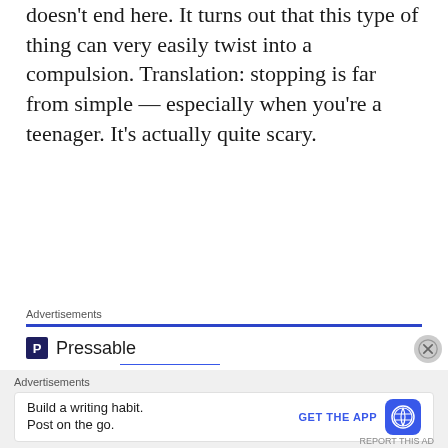doesn't end here. It turns out that this type of thing can very easily twist into a compulsion. Translation: stopping is far from simple — especially when you're a teenager. It's actually quite scary.
[Figure (infographic): Pressable advertisement banner with blue line, Pressable logo, dots, and headline 'The Platform Where WordPress Works Best']
[Figure (infographic): Bottom banner advertisement: 'Build a writing habit. Post on the go.' with GET THE APP button and WordPress icon]